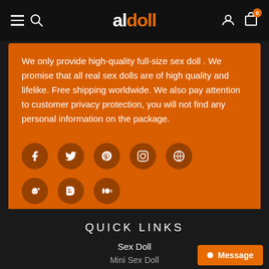aldoll — navigation header with hamburger, search, logo, user, cart (0)
We only provide high-quality full-size sex doll . We promise that all real sex dolls are of high quality and lifelike. Free shipping worldwide. We also pay attention to customer privacy protection, you will not find any personal information on the package.
[Figure (other): Social media icons row 1: Facebook, Twitter, Pinterest, Instagram, WordPress; row 2: Reddit, Blogger, Medium]
QUICK LINKS
Sex Doll
Mini Sex Doll